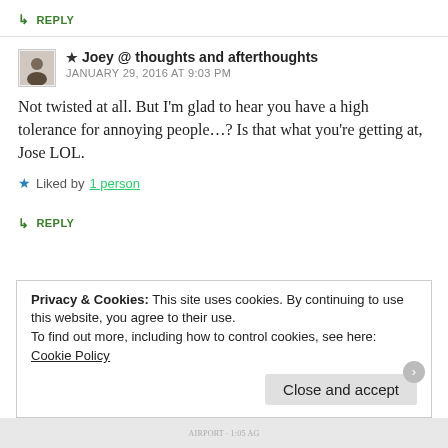↳ REPLY
★ Joey @ thoughts and afterthoughts
JANUARY 29, 2016 AT 9:03 PM
Not twisted at all. But I'm glad to hear you have a high tolerance for annoying people...? Is that what you're getting at, Jose LOL.
★ Liked by 1 person
↳ REPLY
Privacy & Cookies: This site uses cookies. By continuing to use this website, you agree to their use.
To find out more, including how to control cookies, see here: Cookie Policy
Close and accept